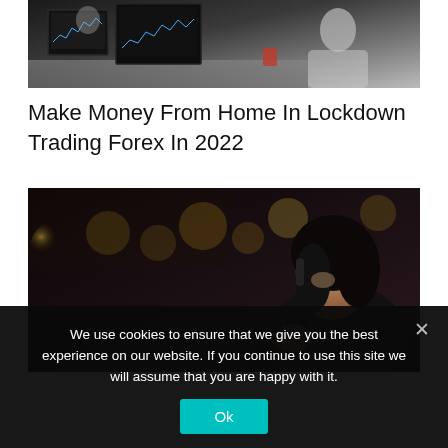[Figure (photo): Person at trading desk with multiple computer monitors showing financial charts]
Make Money From Home In Lockdown Trading Forex In 2022
[Figure (photo): Woman holding a smartphone in a dark bokeh background with lights]
We use cookies to ensure that we give you the best experience on our website. If you continue to use this site we will assume that you are happy with it.